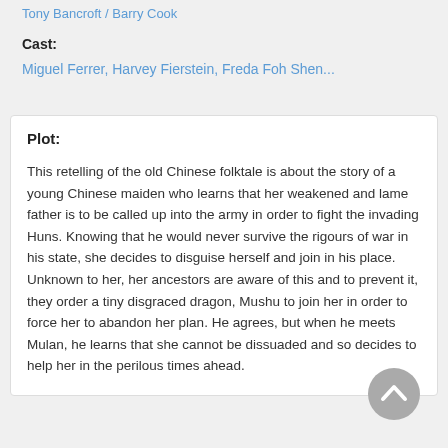Tony Bancroft / Barry Cook
Cast:
Miguel Ferrer, Harvey Fierstein, Freda Foh Shen...
Plot:
This retelling of the old Chinese folktale is about the story of a young Chinese maiden who learns that her weakened and lame father is to be called up into the army in order to fight the invading Huns. Knowing that he would never survive the rigours of war in his state, she decides to disguise herself and join in his place. Unknown to her, her ancestors are aware of this and to prevent it, they order a tiny disgraced dragon, Mushu to join her in order to force her to abandon her plan. He agrees, but when he meets Mulan, he learns that she cannot be dissuaded and so decides to help her in the perilous times ahead.
[Figure (illustration): Back to top button - circular grey arrow pointing upward]